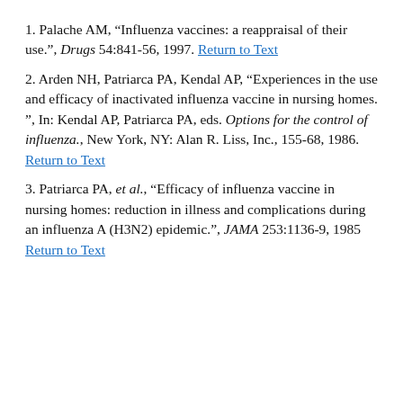1. Palache AM, “Influenza vaccines: a reappraisal of their use.”, Drugs 54:841–56, 1997. Return to Text
2. Arden NH, Patriarca PA, Kendal AP, “Experiences in the use and efficacy of inactivated influenza vaccine in nursing homes.”, In: Kendal AP, Patriarca PA, eds. Options for the control of influenza., New York, NY: Alan R. Liss, Inc., 155–68, 1986. Return to Text
3. Patriarca PA, et al., “Efficacy of influenza vaccine in nursing homes: reduction in illness and complications during an influenza A (H3N2) epidemic.”, JAMA 253:1136–9, 1985 Return to Text